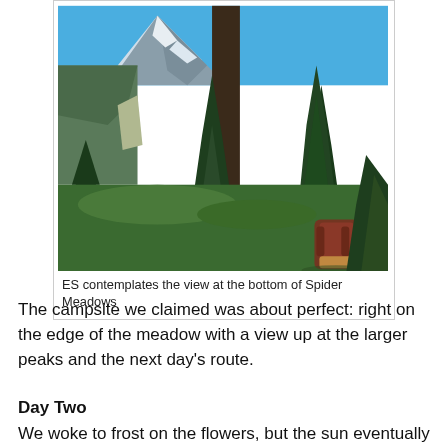[Figure (photo): A hiker with a large backpack stands among tall evergreen trees with a snow-capped mountain peak and green meadow valley visible in the background under a blue sky — at the bottom of Spider Meadows.]
ES contemplates the view at the bottom of Spider Meadows
The campsite we claimed was about perfect: right on the edge of the meadow with a view up at the larger peaks and the next day's route.
Day Two
We woke to frost on the flowers, but the sun eventually hit